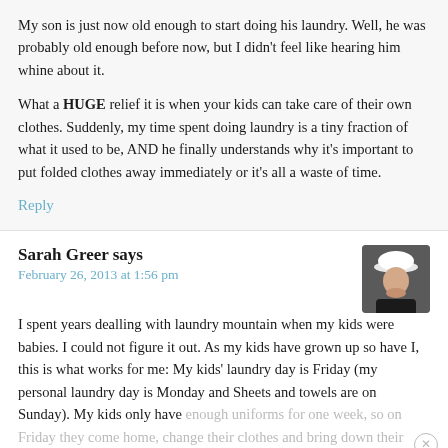My son is just now old enough to start doing his laundry. Well, he was probably old enough before now, but I didn't feel like hearing him whine about it.

What a HUGE relief it is when your kids can take care of their own clothes. Suddenly, my time spent doing laundry is a tiny fraction of what it used to be, AND he finally understands why it's important to put folded clothes away immediately or it's all a waste of time.
Reply
Sarah Greer says
February 26, 2013 at 1:56 pm
[Figure (photo): Small avatar photo of Sarah Greer, a woman wearing a white cap]
I spent years dealling with laundry mountain when my kids were babies. I could not figure it out. As my kids have grown up so have I, this is what works for me: My kids' laundry day is Friday (my personal laundry day is Monday and Sheets and towels are on Sunday). My kids only have enough uniforms for one week, so on Friday they come home, change their clothes and bring down their dirty